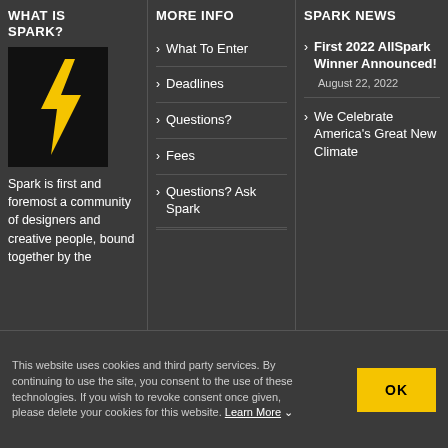WHAT IS SPARK?
[Figure (logo): Spark logo: black background with a yellow lightning bolt]
Spark is first and foremost a community of designers and creative people, bound together by the
MORE INFO
What To Enter
Deadlines
Questions?
Fees
Questions? Ask Spark
SPARK NEWS
First 2022 AllSpark Winner Announced!
August 22, 2022
We Celebrate America's Great New Climate
This website uses cookies and third party services. By continuing to use the site, you consent to the use of these technologies. If you wish to revoke consent once given, please delete your cookies for this website. Learn More ∨